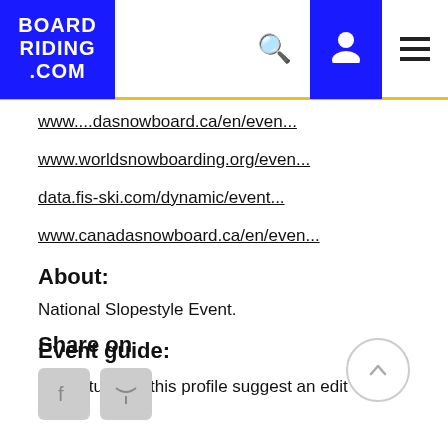BOARD RIDING .COM — navigation header with logo, search, user, and menu icons
www....dasnowboard.ca/en/even...
www.worldsnowboarding.org/even...
data.fis-ski.com/dynamic/event...
www.canadasnowboard.ca/en/even...
About:
National Slopestyle Event.
Event guide:
✎  To tune up this profile suggest an edit
Share on